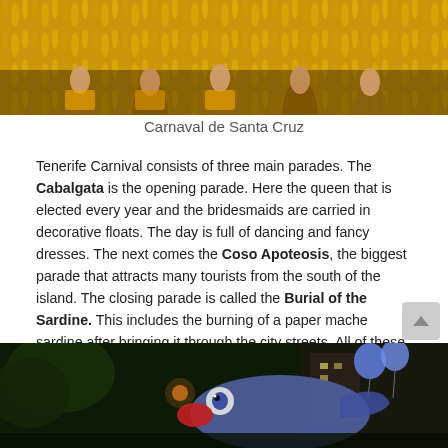[Figure (photo): Carnival performers in colorful yellow feathered costumes and decorative outfits at Carnaval de Santa Cruz]
Carnaval de Santa Cruz
Tenerife Carnival consists of three main parades. The Cabalgata is the opening parade. Here the queen that is elected every year and the bridesmaids are carried in decorative floats. The day is full of dancing and fancy dresses. The next comes the Coso Apoteosis, the biggest parade that attracts many tourists from the south of the island. The closing parade is called the Burial of the Sardine. This includes the burning of a paper mache sardine after bringing it through the city streets. All of these are spectacular events and there is fun for everyone!
[Figure (photo): Night scene at Tenerife Carnival showing a large decorative paper mache sardine float with blue balloons in the background]